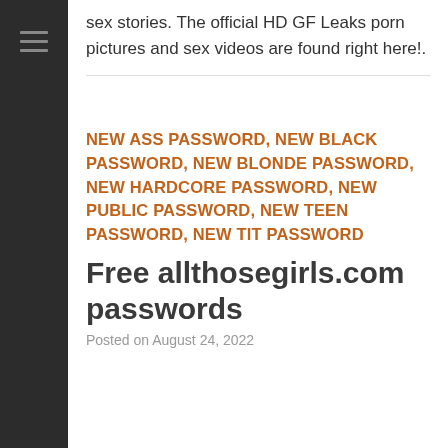sex stories. The official HD GF Leaks porn pictures and sex videos are found right here!.
NEW ASS PASSWORD, NEW BLACK PASSWORD, NEW BLONDE PASSWORD, NEW HARDCORE PASSWORD, NEW PUBLIC PASSWORD, NEW TEEN PASSWORD, NEW TIT PASSWORD
Free allthosegirls.com passwords
Posted on August 24, 2022